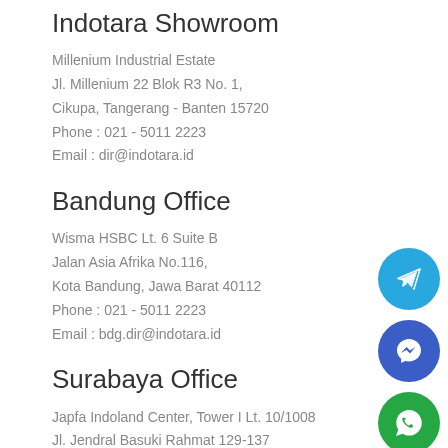Indotara Showroom
Millenium Industrial Estate
Jl. Millenium 22 Blok R3 No. 1,
Cikupa, Tangerang - Banten 15720
Phone :  021 - 5011 2223
Email : dir@indotara.id
Bandung Office
Wisma HSBC Lt. 6 Suite B
Jalan Asia Afrika No.116,
Kota Bandung, Jawa Barat 40112
Phone :  021 - 5011 2223
Email : bdg.dir@indotara.id
Surabaya Office
Japfa Indoland Center, Tower I Lt. 10/1008
Jl. Jendral Basuki Rahmat 129-137
Surabaya 60271
Phone : 031 - 3213 2223
[Figure (illustration): Three circular social media icons stacked vertically on the right side: Telegram (blue), Facebook Messenger (dark blue), WhatsApp (green)]